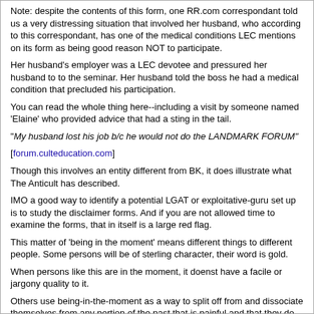Note: despite the contents of this form, one RR.com correspondant told us a very distressing situation that involved her husband, who according to this correspondant, has one of the medical conditions LEC mentions on its form as being good reason NOT to participate.
Her husband's employer was a LEC devotee and pressured her husband to to the seminar. Her husband told the boss he had a medical condition that precluded his participation.
You can read the whole thing here--including a visit by someone named 'Elaine' who provided advice that had a sting in the tail.
"My husband lost his job b/c he would not do the LANDMARK FORUM"
[forum.culteducation.com]
Though this involves an entity different from BK, it does illustrate what The Anticult has described.
IMO a good way to identify a potential LGAT or exploitative-guru set up is to study the disclaimer forms. And if you are not allowed time to examine the forms, that in itself is a large red flag.
This matter of 'being in the moment' means different things to different people. Some persons will be of sterling character, their word is gold.
When persons like this are in the moment, it doenst have a facile or jargony quality to it.
Others use being-in-the-moment as a way to split off from and dissociate themselves from any portion of the past that is painful and that they do not wish to acknowledge.